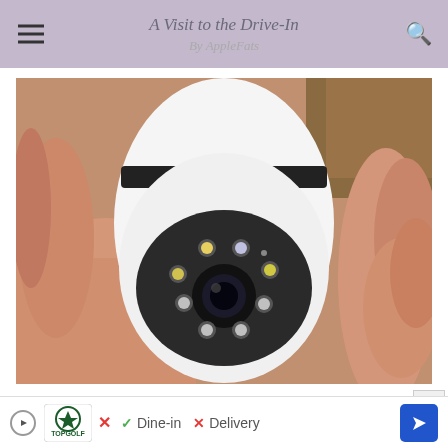A Visit to the Drive-In
By AppleFats
[Figure (photo): A hand holding a small white security camera with a circular lens surrounded by multiple LED lights]
Forget Expensive Doorbell Cams - Get This
[Figure (infographic): Bottom ad strip: Topgolf logo with play and X buttons, Dine-in checkmark and Delivery X, blue navigation arrow]